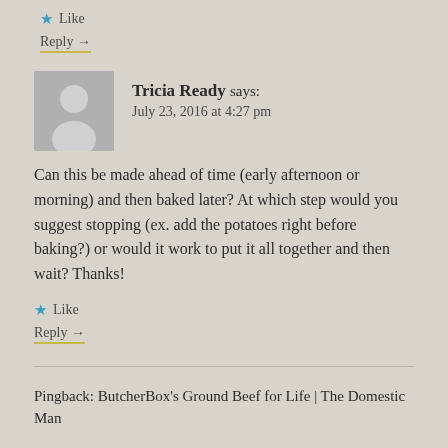★ Like
Reply →
Tricia Ready says: July 23, 2016 at 4:27 pm
[Figure (illustration): Generic user avatar silhouette on gray background]
Can this be made ahead of time (early afternoon or morning) and then baked later? At which step would you suggest stopping (ex. add the potatoes right before baking?) or would it work to put it all together and then wait? Thanks!
★ Like
Reply →
Pingback: ButcherBox's Ground Beef for Life | The Domestic Man